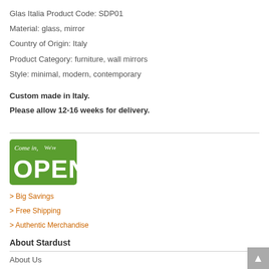Glas Italia Product Code: SDP01
Material: glass, mirror
Country of Origin: Italy
Product Category: furniture, wall mirrors
Style: minimal, modern, contemporary
Custom made in Italy.
Please allow 12-16 weeks for delivery.
[Figure (illustration): Green 'Come in, We're OPEN' sign with white text on green background with rounded corners]
> Big Savings
> Free Shipping
> Authentic Merchandise
About Stardust
About Us